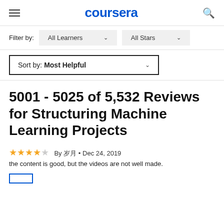coursera
Filter by:  All Learners ∨   All Stars ∨
Sort by: Most Helpful ∨
5001 - 5025 of 5,532 Reviews for Structuring Machine Learning Projects
★★★★☆ By 閿笺 · Dec 24, 2019
the content is good, but the videos are not well made.